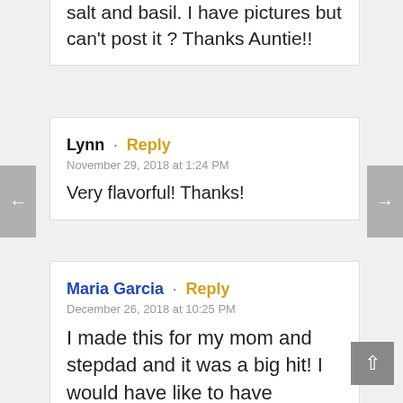salt and basil. I have pictures but can't post it ? Thanks Auntie!!
Lynn · Reply
November 29, 2018 at 1:24 PM
Very flavorful! Thanks!
Maria Garcia · Reply
December 26, 2018 at 10:25 PM
I made this for my mom and stepdad and it was a big hit! I would have like to have included a picture, but cant figure out how to..lol